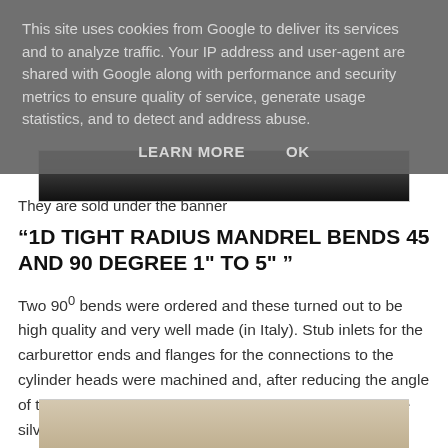This site uses cookies from Google to deliver its services and to analyze traffic. Your IP address and user-agent are shared with Google along with performance and security metrics to ensure quality of service, generate usage statistics, and to detect and address abuse.
LEARN MORE   OK
[Figure (photo): Partial photo showing a dark object, cropped at the top of visible content area]
They are sold under the banner
“1D TIGHT RADIUS MANDREL BENDS 45 AND 90 DEGREE 1" TO 5" "
Two 90° bends were ordered and these turned out to be high quality and very well made (in Italy). Stub inlets for the carburettor ends and flanges for the connections to the cylinder heads were machined and, after reducing the angle of the bend a few degrees in both cases, the pieces were silver soldered together to make 2x one-piece manifolds.
[Figure (photo): Bottom partial photo, cut off at the bottom of the page, showing a light-colored object]